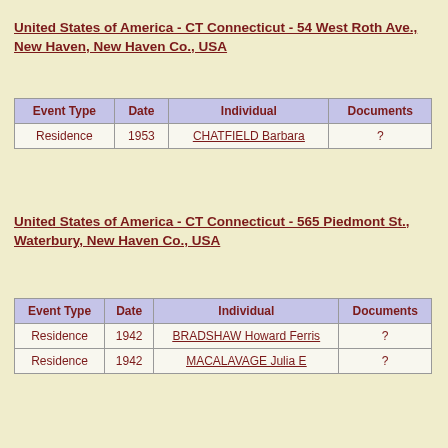United States of America - CT Connecticut - 54 West Roth Ave., New Haven, New Haven Co., USA
| Event Type | Date | Individual | Documents |
| --- | --- | --- | --- |
| Residence | 1953 | CHATFIELD Barbara | ? |
United States of America - CT Connecticut - 565 Piedmont St., Waterbury, New Haven Co., USA
| Event Type | Date | Individual | Documents |
| --- | --- | --- | --- |
| Residence | 1942 | BRADSHAW Howard Ferris | ? |
| Residence | 1942 | MACALAVAGE Julia E | ? |